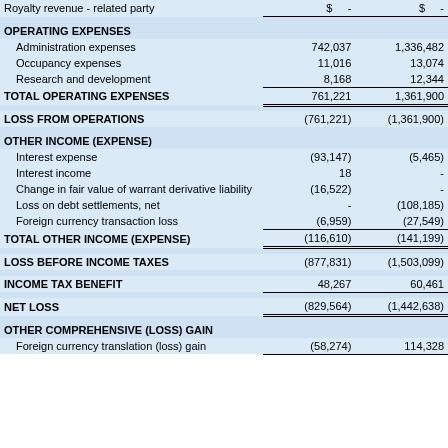|  | Col1 | Col2 |
| --- | --- | --- |
| Royalty revenue - related party | $  - | $  - |
| OPERATING EXPENSES |  |  |
| Administration expenses | 742,037 | 1,336,482 |
| Occupancy expenses | 11,016 | 13,074 |
| Research and development | 8,168 | 12,344 |
| TOTAL OPERATING EXPENSES | 761,221 | 1,361,900 |
| LOSS FROM OPERATIONS | (761,221) | (1,361,900) |
| OTHER INCOME (EXPENSE) |  |  |
| Interest expense | (93,147) | (5,465) |
| Interest income | 18 | - |
| Change in fair value of warrant derivative liability | (16,522) | - |
| Loss on debt settlements, net | - | (108,185) |
| Foreign currency transaction loss | (6,959) | (27,549) |
| TOTAL OTHER INCOME (EXPENSE) | (116,610) | (141,199) |
| LOSS BEFORE INCOME TAXES | (877,831) | (1,503,099) |
| INCOME TAX BENEFIT | 48,267 | 60,461 |
| NET LOSS | (829,564) | (1,442,638) |
| OTHER COMPREHENSIVE (LOSS) GAIN |  |  |
| Foreign currency translation (loss) gain | (58,274) | 114,328 |